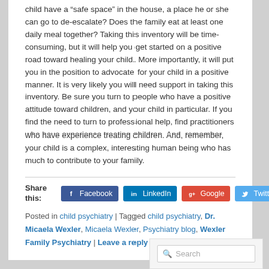child have a “safe space” in the house, a place he or she can go to de-escalate? Does the family eat at least one daily meal together? Taking this inventory will be time-consuming, but it will help you get started on a positive road toward healing your child. More importantly, it will put you in the position to advocate for your child in a positive manner. It is very likely you will need support in taking this inventory. Be sure you turn to people who have a positive attitude toward children, and your child in particular. If you find the need to turn to professional help, find practitioners who have experience treating children. And, remember, your child is a complex, interesting human being who has much to contribute to your family.
Share this: Facebook LinkedIn Google Twitter
Posted in child psychiatry | Tagged child psychiatry, Dr. Micaela Wexler, Micaela Wexler, Psychiatry blog, Wexler Family Psychiatry | Leave a reply